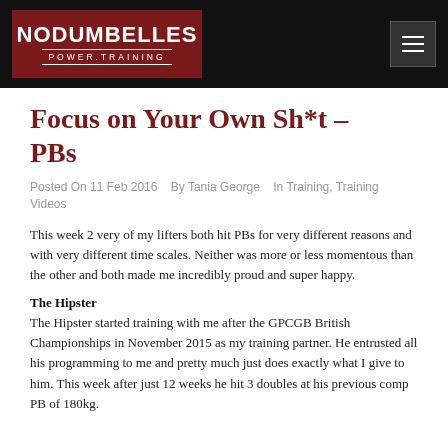[Figure (logo): NoDumbelles Power Training logo on dark red background with menu button on black header bar]
Focus on Your Own Sh*t – PBs
Posted On 11 Feb 2016   By Tania George   In Training, Training Videos
This week 2 very of my lifters both hit PBs for very different reasons and with very different time scales. Neither was more or less momentous than the other and both made me incredibly proud and super happy.
The Hipster
The Hipster started training with me after the GPCGB British Championships in November 2015 as my training partner. He entrusted all his programming to me and pretty much just does exactly what I give to him. This week after just 12 weeks he hit 3 doubles at his previous comp PB of 180kg.